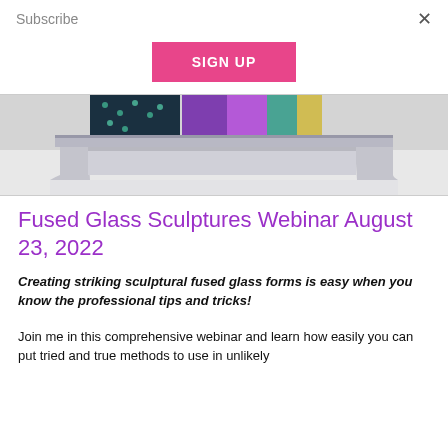Subscribe
SIGN UP
[Figure (photo): Partial photo of fused glass sculptures on a glass shelf/mold — colorful teal and purple/multicolor glass pieces resting on a clear glass or acrylic platform, photographed from the side.]
Fused Glass Sculptures Webinar August 23, 2022
Creating striking sculptural fused glass forms is easy when you know the professional tips and tricks!
Join me in this comprehensive webinar and learn how easily you can put tried and true methods to use in unlikely